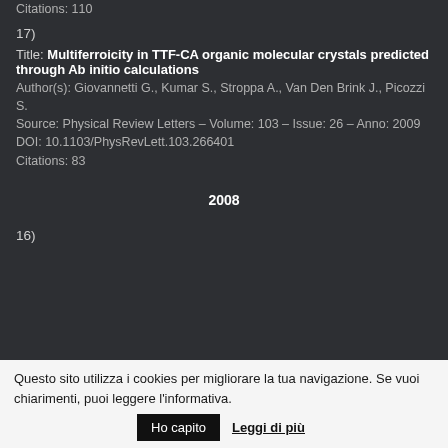Citations: 110
17)
Title: Multiferroicity in TTF-CA organic molecular crystals predicted through Ab initio calculations
Author(s): Giovannetti G., Kumar S., Stroppa A., Van Den Brink J., Picozzi S.
Source: Physical Review Letters – Volume: 103 – Issue: 26 – Anno: 2009
DOI: 10.1103/PhysRevLett.103.266401
Citations: 83
2008
16)
Questo sito utilizza i cookies per migliorare la tua navigazione. Se vuoi chiarimenti, puoi leggere l'informativa. Ho capito Leggi di più